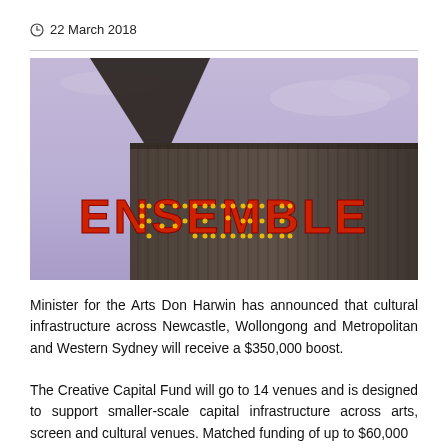22 March 2018
[Figure (photo): Exterior of a building with corrugated metal cladding featuring illuminated marquee letters spelling 'ENSEMBLE', photographed from a low angle against a purple-grey sky.]
Minister for the Arts Don Harwin has announced that cultural infrastructure across Newcastle, Wollongong and Metropolitan and Western Sydney will receive a $350,000 boost.
The Creative Capital Fund will go to 14 venues and is designed to support smaller-scale capital infrastructure across arts, screen and cultural venues. Matched funding of up to $60,000